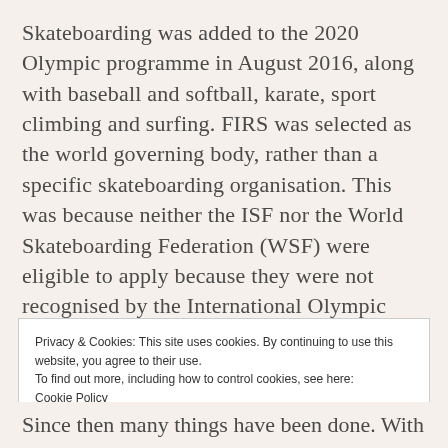Skateboarding was added to the 2020 Olympic programme in August 2016, along with baseball and softball, karate, sport climbing and surfing. FIRS was selected as the world governing body, rather than a specific skateboarding organisation. This was because neither the ISF nor the World Skateboarding Federation (WSF) were eligible to apply because they were not recognised by the International Olympic Committee.
Privacy & Cookies: This site uses cookies. By continuing to use this website, you agree to their use.
To find out more, including how to control cookies, see here: Cookie Policy
Close and accept
Since then many things have been done. With